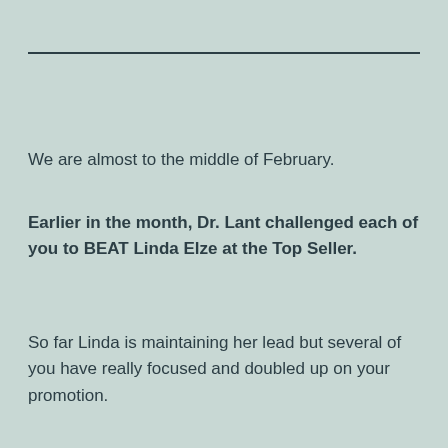We are almost to the middle of February.
Earlier in the month, Dr. Lant challenged each of you to BEAT Linda Elze at the Top Seller.
So far Linda is maintaining her lead but several of you have really focused and doubled up on your promotion.